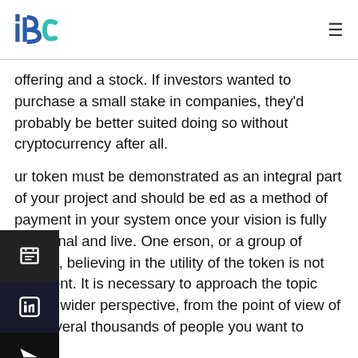ibc logo and navigation
offering and a stock. If investors wanted to purchase a small stake in companies, they'd probably be better suited doing so without cryptocurrency after all.
Your token must be demonstrated as an integral part of your project and should be used as a method of payment in your system once your vision is fully functional and live. One person, or a group of people, believing in the utility of the token is not sufficient. It is necessary to approach the topic from a wider perspective, from the point of view of the several thousands of people you want to